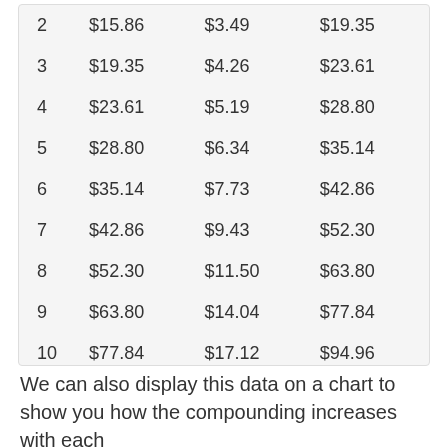| 2 | $15.86 | $3.49 | $19.35 |
| 3 | $19.35 | $4.26 | $23.61 |
| 4 | $23.61 | $5.19 | $28.80 |
| 5 | $28.80 | $6.34 | $35.14 |
| 6 | $35.14 | $7.73 | $42.86 |
| 7 | $42.86 | $9.43 | $52.30 |
| 8 | $52.30 | $11.50 | $63.80 |
| 9 | $63.80 | $14.04 | $77.84 |
| 10 | $77.84 | $17.12 | $94.96 |
We can also display this data on a chart to show you how the compounding increases with each